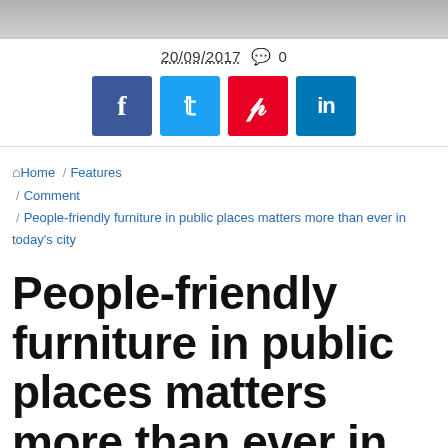[Figure (photo): Top portion of a photograph, showing a blurred outdoor scene]
20/09/2017  💬 0
[Figure (infographic): Social media share buttons: Facebook, Twitter, Pinterest, LinkedIn]
⌂ Home / Features / Comment / People-friendly furniture in public places matters more than ever in today's city
People-friendly furniture in public places matters more than ever in today's city